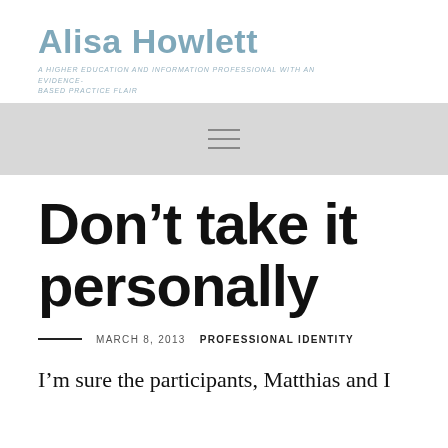Alisa Howlett
A HIGHER EDUCATION AND INFORMATION PROFESSIONAL WITH AN EVIDENCE-BASED PRACTICE FLAIR
[Figure (other): Navigation bar with hamburger menu icon (three horizontal lines)]
Don’t take it personally
MARCH 8, 2013  PROFESSIONAL IDENTITY
I’m sure the participants, Matthias and I